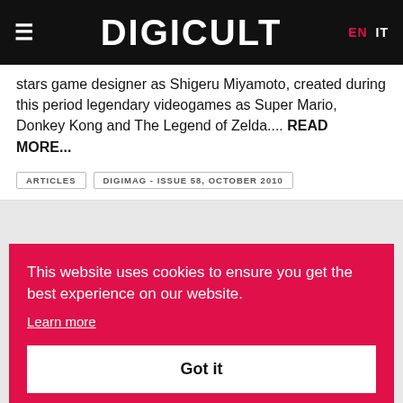DIGICULT  EN  IT
stars game designer as Shigeru Miyamoto, created during this period legendary videogames as Super Mario, Donkey Kong and The Legend of Zelda.... READ MORE...
ARTICLES
DIGIMAG - ISSUE 58, OCTOBER 2010
This website uses cookies to ensure you get the best experience on our website. Learn more
Got it